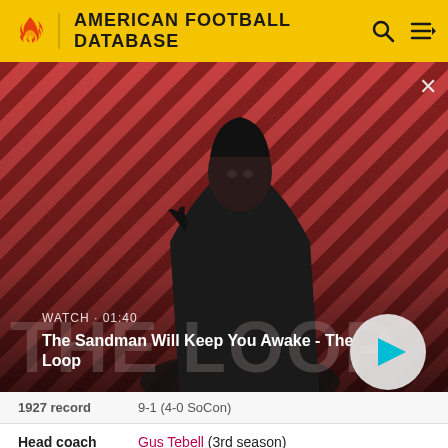AMERICAN FOOTBALL DATABASE
[Figure (screenshot): Video thumbnail showing a dark-cloaked figure with a raven on shoulder against a red diagonal-striped background. Overlay text: WATCH · 01:40 / The Sandman Will Keep You Awake - The Loop. Play button (circular white button with teal triangle) in bottom-right.]
1927 record    9-1 (4-0 SoCon)
Head coach    Gus Tebell (3rd season)
∨